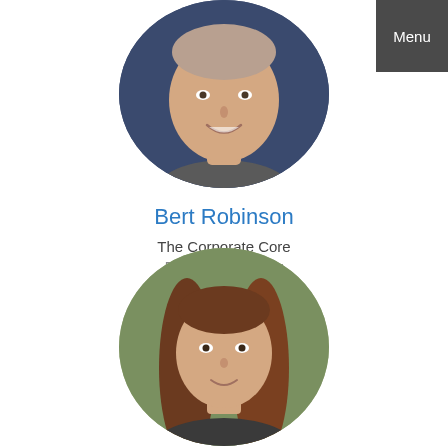[Figure (photo): Circular profile photo of Bert Robinson, a middle-aged man smiling, against a dark blue background]
Bert Robinson
The Corporate Core
Founder & Director
[Figure (photo): Circular profile photo of Shannon Rodriguez, a woman with long brown hair, smiling, outdoors with green background]
Shannon Rodriguez
InDevR/2B Technologies
Menu